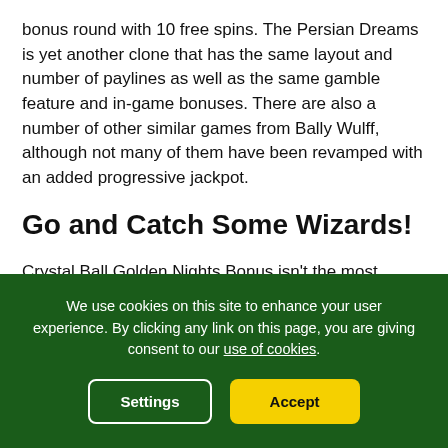bonus round with 10 free spins. The Persian Dreams is yet another clone that has the same layout and number of paylines as well as the same gamble feature and in-game bonuses. There are also a number of other similar games from Bally Wulff, although not many of them have been revamped with an added progressive jackpot.
Go and Catch Some Wizards!
Crystal Ball Golden Nights Bonus isn't the most entertaining of slot games but it can certainly be exciting to play. Not only does it come with multiple features like the Gamble side-games, free spins, wild symbols, and a multi-tier jackpot, but it
We use cookies on this site to enhance your user experience. By clicking any link on this page, you are giving consent to our use of cookies.